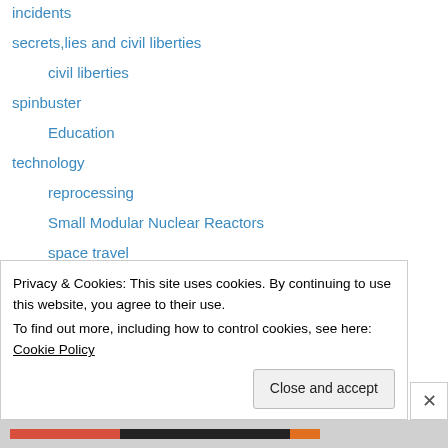incidents
secrets,lies and civil liberties
civil liberties
spinbuster
Education
technology
reprocessing
Small Modular Nuclear Reactors
space travel
Uranium
wastes
– plutonium
decommission reactor
weapons and war
Privacy & Cookies: This site uses cookies. By continuing to use this website, you agree to their use.
To find out more, including how to control cookies, see here: Cookie Policy
Close and accept